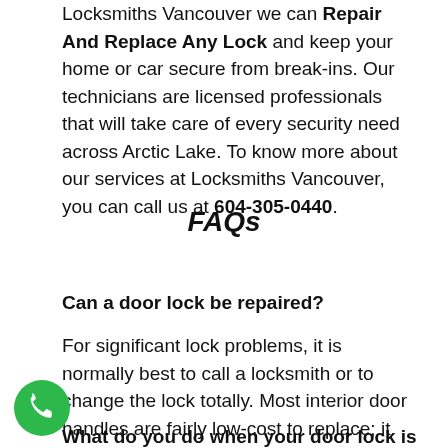Locksmiths Vancouver we can Repair And Replace Any Lock and keep your home or car secure from break-ins. Our technicians are licensed professionals that will take care of every security need across Arctic Lake. To know more about our services at Locksmiths Vancouver, you can call us at 604-305-0440.
FAQs
Can a door lock be repaired?
For significant lock problems, it is normally best to call a locksmith or to change the lock totally. Most interior door handles are fairly low-cost to replace; it doesn't actually pay to have indoor door handles or locks professionally fixed unless they are unique.
What do you do when your door lock is stuck?